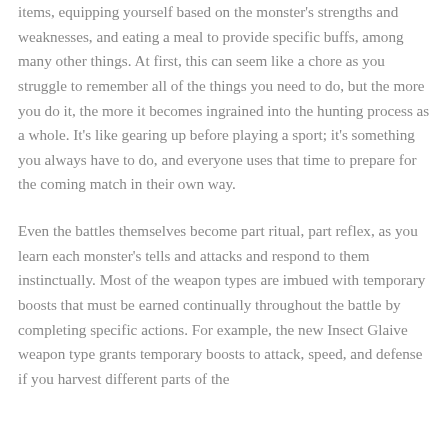items, equipping yourself based on the monster's strengths and weaknesses, and eating a meal to provide specific buffs, among many other things. At first, this can seem like a chore as you struggle to remember all of the things you need to do, but the more you do it, the more it becomes ingrained into the hunting process as a whole. It's like gearing up before playing a sport; it's something you always have to do, and everyone uses that time to prepare for the coming match in their own way.
Even the battles themselves become part ritual, part reflex, as you learn each monster's tells and attacks and respond to them instinctually. Most of the weapon types are imbued with temporary boosts that must be earned continually throughout the battle by completing specific actions. For example, the new Insect Glaive weapon type grants temporary boosts to attack, speed, and defense if you harvest different parts of the